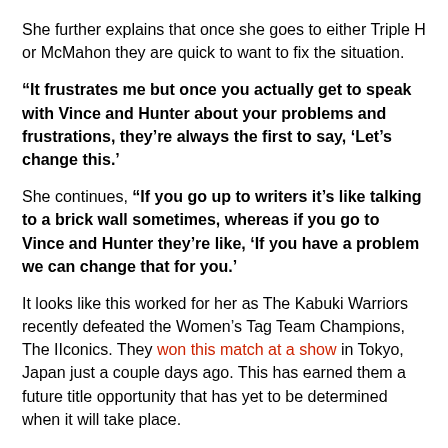She further explains that once she goes to either Triple H or McMahon they are quick to want to fix the situation.
“It frustrates me but once you actually get to speak with Vince and Hunter about your problems and frustrations, they’re always the first to say, ‘Let’s change this.’
She continues, “If you go up to writers it’s like talking to a brick wall sometimes, whereas if you go to Vince and Hunter they’re like, ‘If you have a problem we can change that for you.’
It looks like this worked for her as The Kabuki Warriors recently defeated the Women’s Tag Team Champions, The IIconics. They won this match at a show in Tokyo, Japan just a couple days ago. This has earned them a future title opportunity that has yet to be determined when it will take place.